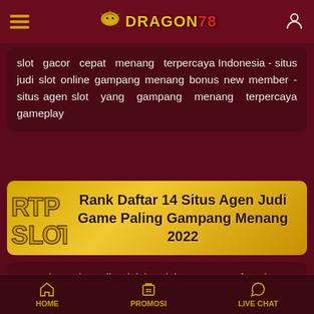Dragon78 - hamburger menu, logo, user icon
slot gacor cepat menang terpercaya Indonesia - situs judi slot online gampang menang bonus new member - situs agen slot yang gampang menang terpercaya gameplay
Rank Daftar 14 Situs Agen Judi Game Paling Gampang Menang 2022
Permainan slot online ialah salah satu game favorit yang ada di dunia judi online. Permainan yang ada di slot online menghadirkan sistem game yang menarik
HOME | PROMOSI | LIVE CHAT